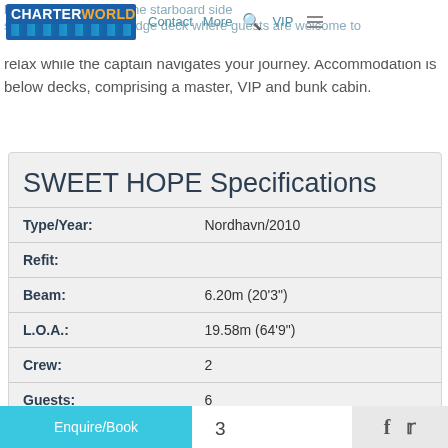CHARTERWORLD | Contact More VIP
relax while the captain navigates your journey. Accommodation is below decks, comprising a master, VIP and bunk cabin.
SWEET HOPE Specifications
| Field | Value |
| --- | --- |
| Type/Year: | Nordhavn/2010 |
| Refit: |  |
| Beam: | 6.20m (20'3") |
| L.O.A.: | 19.58m (64'9") |
| Crew: | 2 |
| Guests: | 6 |
| Max Speed: | 11 knots |